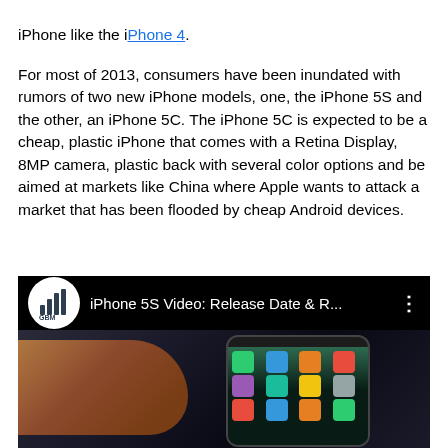iPhone like the iPhone 4.
For most of 2013, consumers have been inundated with rumors of two new iPhone models, one, the iPhone 5S and the other, an iPhone 5C. The iPhone 5C is expected to be a cheap, plastic iPhone that comes with a Retina Display, 8MP camera, plastic back with several color options and be aimed at markets like China where Apple wants to attack a market that has been flooded by cheap Android devices.
[Figure (screenshot): YouTube-style video embed with GBM logo, title 'iPhone 5S Video: Release Date & R...' with three-dot menu, and thumbnail showing a hand holding an iPhone with apps visible on screen.]